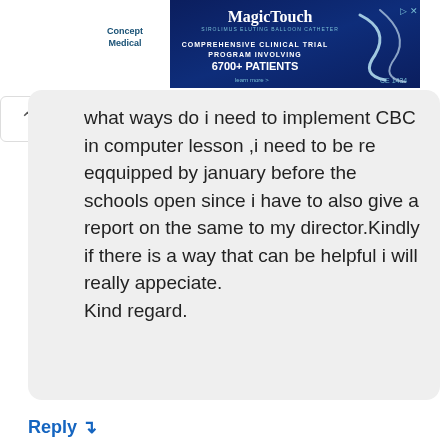[Figure (screenshot): Advertisement banner for Concept Medical MagicTouch - Comprehensive Clinical Trial Program Involving 6700+ Patients, with CE 1434 marking]
what ways do i need to implement CBC in computer lesson ,i need to be re eqquipped by january before the schools open since i have to also give a report on the same to my director.Kindly if there is a way that can be helpful i will really appeciate.
Kind regard.
Reply ↴